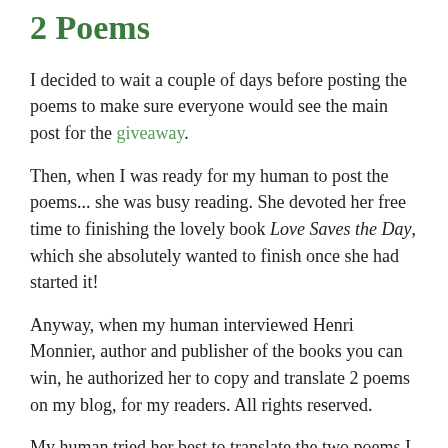2 Poems
I decided to wait a couple of days before posting the poems to make sure everyone would see the main post for the giveaway.
Then, when I was ready for my human to post the poems... she was busy reading. She devoted her free time to finishing the lovely book Love Saves the Day, which she absolutely wanted to finish once she had started it!
Anyway, when my human interviewed Henri Monnier, author and publisher of the books you can win, he authorized her to copy and translate 2 poems on my blog, for my readers. All rights reserved.
My human tried her best to translate the two poems I chose, but she thinks a little is lost (most of the time) in translation, especially in poetry with rhymes and sometimes a certain number of feet. Also many words in French which have the